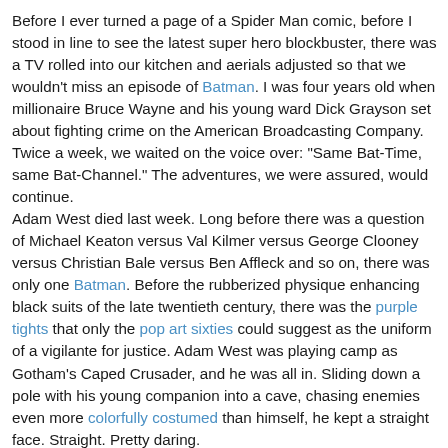Before I ever turned a page of a Spider Man comic, before I stood in line to see the latest super hero blockbuster, there was a TV rolled into our kitchen and aerials adjusted so that we wouldn't miss an episode of Batman. I was four years old when millionaire Bruce Wayne and his young ward Dick Grayson set about fighting crime on the American Broadcasting Company. Twice a week, we waited on the voice over: "Same Bat-Time, same Bat-Channel." The adventures, we were assured, would continue. Adam West died last week. Long before there was a question of Michael Keaton versus Val Kilmer versus George Clooney versus Christian Bale versus Ben Affleck and so on, there was only one Batman. Before the rubberized physique enhancing black suits of the late twentieth century, there was the purple tights that only the pop art sixties could suggest as the uniform of a vigilante for justice. Adam West was playing camp as Gotham's Caped Crusader, and he was all in. Sliding down a pole with his young companion into a cave, chasing enemies even more colorfully costumed than himself, he kept a straight face. Straight. Pretty daring. That was the super thing. As ridiculous as things got.